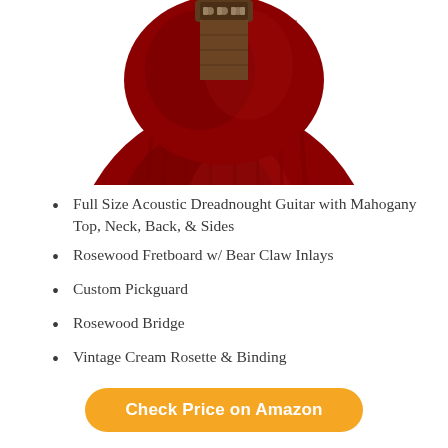[Figure (photo): Close-up photo of the body of a red acoustic dreadnought guitar, showing the deep red mahogany finish. The guitar body is partially cropped, showing the upper bout and body with tuning pegs visible at the top.]
Full Size Acoustic Dreadnought Guitar with Mahogany Top, Neck, Back, & Sides
Rosewood Fretboard w/ Bear Claw Inlays
Custom Pickguard
Rosewood Bridge
Vintage Cream Rosette & Binding
Check Price on Amazon